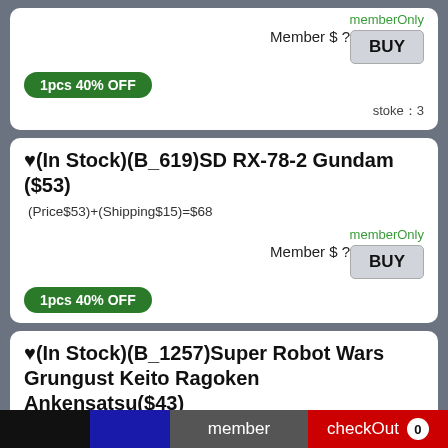memberOnly
Member $ ?
BUY
1pcs 40% OFF
stoke：3
♥(In Stock)(B_619)SD RX-78-2 Gundam ($53)
(Price$53)+(Shipping$15)=$68
memberOnly
Member $ ?
BUY
1pcs 40% OFF
♥(In Stock)(B_1257)Super Robot Wars Grungust Keito Ragoken Ankensatsu($43)
(Price$43)+(Shipping$15)=$58
memberOnly
Member $ ?
BUY
member    checkOut  0